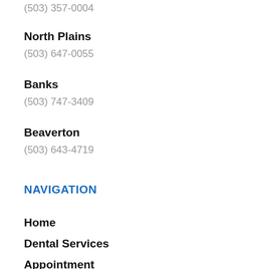(503) 357-0004
North Plains
(503) 647-0055
Banks
(503) 747-3409
Beaverton
(503) 643-4719
NAVIGATION
Home
Dental Services
Appointment